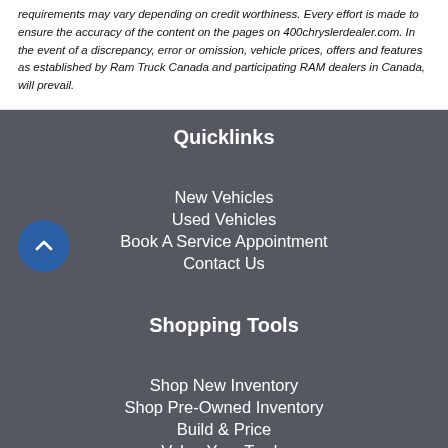requirements may vary depending on credit worthiness. Every effort is made to ensure the accuracy of the content on the pages on 400chryslerdealer.com. In the event of a discrepancy, error or omission, vehicle prices, offers and features as established by Ram Truck Canada and participating RAM dealers in Canada, will prevail.
Quicklinks
New Vehicles
Used Vehicles
Book A Service Appointment
Contact Us
Shopping Tools
Shop New Inventory
Shop Pre-Owned Inventory
Build & Price
Value Your Trade
Book A Test Drive